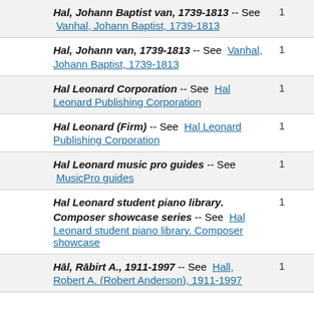| Entry | Count |
| --- | --- |
| Hal, Johann Baptist van, 1739-1813 -- See Vanhal, Johann Baptist, 1739-1813 | 1 |
| Hal, Johann van, 1739-1813 -- See Vanhal, Johann Baptist, 1739-1813 | 1 |
| Hal Leonard Corporation -- See Hal Leonard Publishing Corporation | 1 |
| Hal Leonard (Firm) -- See Hal Leonard Publishing Corporation | 1 |
| Hal Leonard music pro guides -- See MusicPro guides | 1 |
| Hal Leonard student piano library. Composer showcase series -- See Hal Leonard student piano library. Composer showcase | 1 |
| Hāl, Rābirt A., 1911-1997 -- See Hall, Robert A. (Robert Anderson), 1911-1997 | 1 |